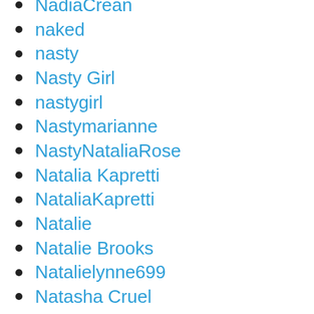NadiaCrean
naked
nasty
Nasty Girl
nastygirl
Nastymarianne
NastyNataliaRose
Natalia Kapretti
NataliaKapretti
Natalie
Natalie Brooks
Natalielynne699
Natasha Cruel
Natasha Jane
NatashaJane
Naughty Girl
NaughtyGirl